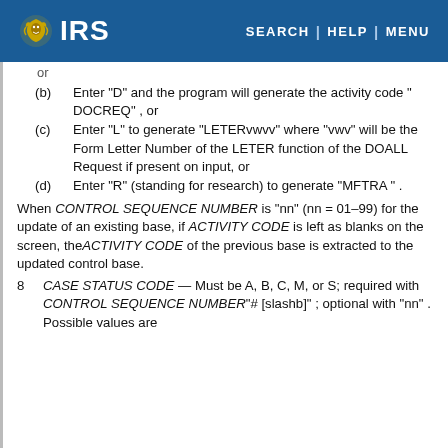IRS SEARCH | HELP | MENU
(b) Enter "D" and the program will generate the activity code " DOCREQ" , or
(c) Enter "L" to generate "LETERvwvv" where "vwv" will be the Form Letter Number of the LETER function of the DOALL Request if present on input, or
(d) Enter "R" (standing for research) to generate "MFTRA " .
When CONTROL SEQUENCE NUMBER is "nn" (nn = 01–99) for the update of an existing base, if ACTIVITY CODE is left as blanks on the screen, theACTIVITY CODE of the previous base is extracted to the updated control base.
8 CASE STATUS CODE — Must be A, B, C, M, or S; required with CONTROL SEQUENCE NUMBER"# [slashb]" ; optional with "nn" . Possible values are